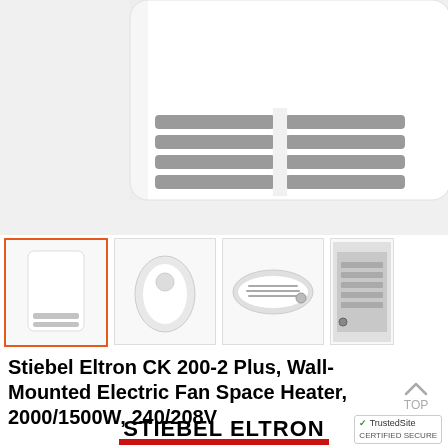[Figure (photo): Close-up photo of a Stiebel Eltron wall-mounted electric fan space heater, showing the white top panel with ventilation grille slots, photographed from below at an angle.]
[Figure (photo): Thumbnail row showing four product images: (1) full front view of white heater unit with orange border (selected), (2) side/angle view of white heater, (3) top-down angled view showing grille and body, (4) partial view of grey back/side panel.]
Stiebel Eltron CK 200-2 Plus, Wall-Mounted Electric Fan Space Heater, 2000/1500W, 240/208V
[Figure (logo): Stiebel Eltron brand logo: bold black uppercase text STIEBEL ELTRON with a red horizontal bar underneath spanning the full width of the text.]
[Figure (other): TrustedSite badge in bottom right corner.]